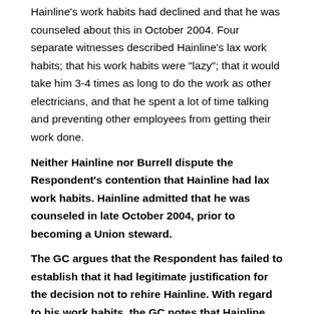Hainline's work habits had declined and that he was counseled about this in October 2004. Four separate witnesses described Hainline's lax work habits; that his work habits were "lazy"; that it would take him 3-4 times as long to do the work as other electricians, and that he spent a lot of time talking and preventing other employees from getting their work done.
Neither Hainline nor Burrell dispute the Respondent's contention that Hainline had lax work habits. Hainline admitted that he was counseled in late October 2004, prior to becoming a Union steward.
The GC argues that the Respondent has failed to establish that it had legitimate justification for the decision not to rehire Hainline. With regard to his work habits, the GC notes that Hainline admits he was counseled by Staley and Taylor on October 19, 2004,